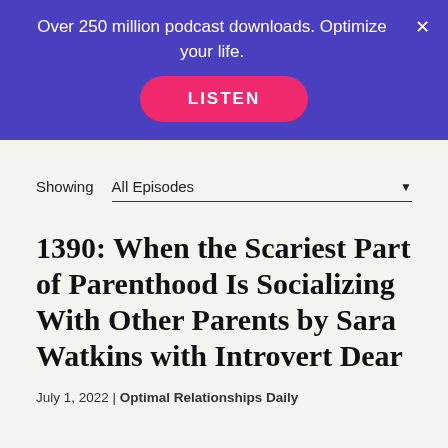Over 250 million podcast downloads. Optimize your life.
[Figure (other): Pink LISTEN button on purple banner]
Showing  All Episodes
1390: When the Scariest Part of Parenthood Is Socializing With Other Parents by Sara Watkins with Introvert Dear
July 1, 2022 | Optimal Relationships Daily